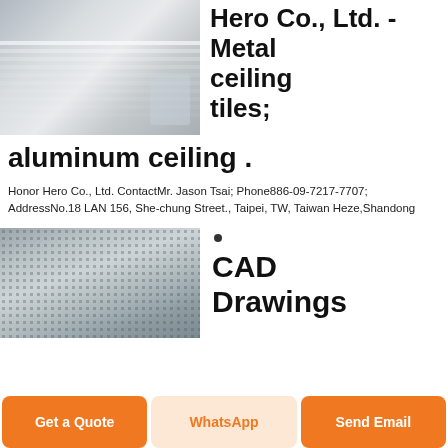[Figure (photo): Aluminum sheet metal panels stacked, showing smooth metallic surface with reflected light]
Hero Co., Ltd. - Metal ceiling tiles; aluminum ceiling .
Honor Hero Co., Ltd. ContactMr. Jason Tsai; Phone886-09-7217-7707; AddressNo.18 LAN 156, She-chung Street., Taipei, TW, Taiwan Heze,Shandong
[Figure (photo): Close-up of perforated/textured aluminum ceiling tile with diamond or dot pattern]
•
CAD Drawings